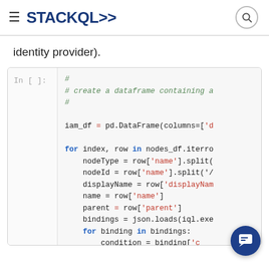STACKQL>>
identity provider).
[Figure (screenshot): Jupyter notebook cell showing Python code: creating a dataframe and iterating over nodes_df rows to extract IAM bindings. Code uses pandas DataFrame, json.loads, and for loops over bindings and members.]